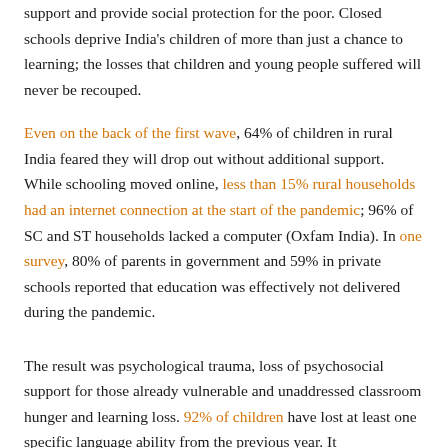support and provide social protection for the poor. Closed schools deprive India's children of more than just a chance to learning; the losses that children and young people suffered will never be recouped.
Even on the back of the first wave, 64% of children in rural India feared they will drop out without additional support. While schooling moved online, less than 15% rural households had an internet connection at the start of the pandemic; 96% of SC and ST households lacked a computer (Oxfam India). In one survey, 80% of parents in government and 59% in private schools reported that education was effectively not delivered during the pandemic.
The result was psychological trauma, loss of psychosocial support for those already vulnerable and unaddressed classroom hunger and learning loss. 92% of children have lost at least one specific language ability from the previous year. It